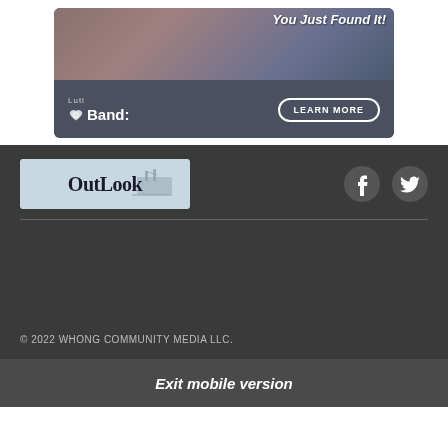[Figure (photo): Advertisement banner for Luti Band product with photo of person and kitchen items, showing 'You Just Found It!' text, Luti Band logo with heart icon, and a 'LEARN MORE' button]
[Figure (logo): OutLook publication logo with ship illustration on light blue background]
[Figure (illustration): Facebook circular icon (white F on dark circle)]
[Figure (illustration): Twitter bird icon (white bird on dark circle)]
© 2022 WHONG COMMUNITY MEDIA LLC.
Exit mobile version